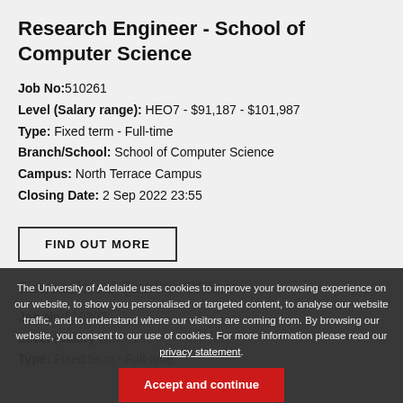Research Engineer - School of Computer Science
Job No: 510261
Level (Salary range): HEO7 - $91,187 - $101,987
Type: Fixed term - Full-time
Branch/School: School of Computer Science
Campus: North Terrace Campus
Closing Date: 2 Sep 2022 23:55
FIND OUT MORE
The University of Adelaide uses cookies to improve your browsing experience on our website, to show you personalised or targeted content, to analyse our website traffic, and to understand where our visitors are coming from. By browsing our website, you consent to our use of cookies. For more information please read our privacy statement.
Accept and continue
Educational Quality Officer
Job No: 510303
Level (Salary range): ... 79 - $89,525
Type: Fixed term - Full-time